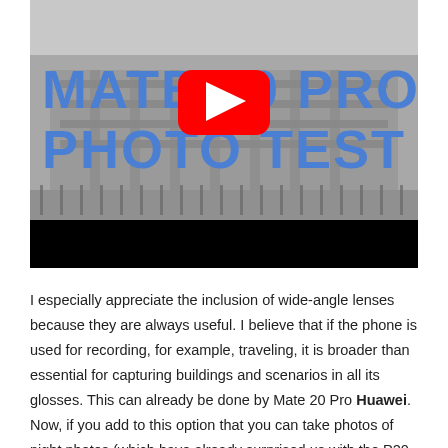[Figure (screenshot): YouTube video thumbnail for 'Mate 20 Pro Photo Test' showing a building (Buckingham Palace) in grayscale at night with large bold blue text reading 'MATE 20 PRO PHOTO TEST' and a YouTube play button (red circle with white triangle) in the center. Below the thumbnail is a black letterbox bar.]
I especially appreciate the inclusion of wide-angle lenses because they are always useful. I believe that if the phone is used for recording, for example, traveling, it is broader than essential for capturing buildings and scenarios in all its glosses. This can already be done by Mate 20 Pro Huawei. Now, if you add to this option that you can take photos of night photos (which have already surprised us with the P20 Pro and have now improved) or